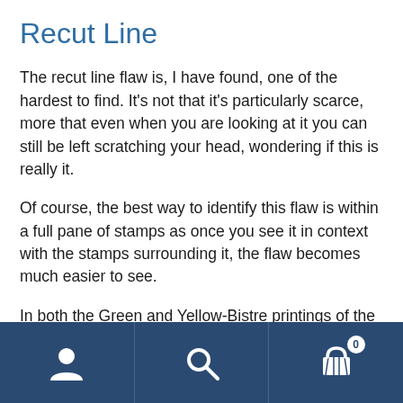Recut Line
The recut line flaw is, I have found, one of the hardest to find. It’s not that it’s particularly scarce, more that even when you are looking at it you can still be left scratching your head, wondering if this is really it.
Of course, the best way to identify this flaw is within a full pane of stamps as once you see it in context with the stamps surrounding it, the flaw becomes much easier to see.
In both the Green and Yellow-Bistre printings of the ½d this flaw can be found on row ten of the sheet, position six. And it only occurs on the ½d values in this set and no
[Figure (other): Bottom navigation bar with dark blue background containing three icons: a user/person icon on the left, a search/magnifying glass icon in the center, and a shopping basket/cart icon with a badge showing 0 on the right.]